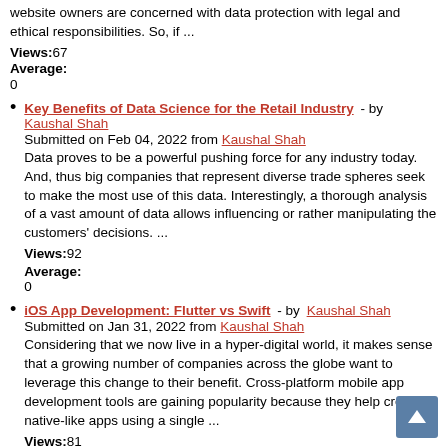website owners are concerned with data protection with legal and ethical responsibilities. So, if ...
Views:67
Average:
0
Key Benefits of Data Science for the Retail Industry - by Kaushal Shah
Submitted on Feb 04, 2022 from Kaushal Shah
Data proves to be a powerful pushing force for any industry today. And, thus big companies that represent diverse trade spheres seek to make the most use of this data. Interestingly, a thorough analysis of a vast amount of data allows influencing or rather manipulating the customers' decisions. ...
Views:92
Average:
0
iOS App Development: Flutter vs Swift - by Kaushal Shah
Submitted on Jan 31, 2022 from Kaushal Shah
Considering that we now live in a hyper-digital world, it makes sense that a growing number of companies across the globe want to leverage this change to their benefit. Cross-platform mobile app development tools are gaining popularity because they help create native-like apps using a single ...
Views:81
Average:
0
Single Page Apps vs Multi Page Apps: How Are They Different? - by Kaushal Shah